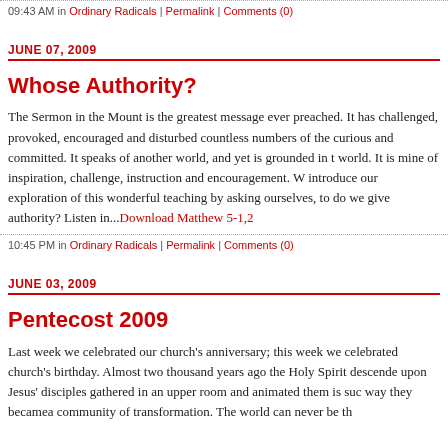09:43 AM in Ordinary Radicals | Permalink | Comments (0)
JUNE 07, 2009
Whose Authority?
The Sermon in the Mount is the greatest message ever preached.  It has challenged, provoked, encouraged and disturbed countless numbers of the curious and committed.  It speaks of another world, and yet is grounded in this world.  It is mine of inspiration, challenge, instruction and encouragement.  We introduce our exploration of this wonderful teaching by asking ourselves, to whom do we give authority?  Listen in...Download Matthew 5-1,2
10:45 PM in Ordinary Radicals | Permalink | Comments (0)
JUNE 03, 2009
Pentecost 2009
Last week we celebrated our church's anniversary; this week we celebrated the church's birthday.  Almost two thousand years ago the Holy Spirit descended upon Jesus' disciples gathered in an upper room and animated them is such a way they becamea community of transformation.  The world can never be th